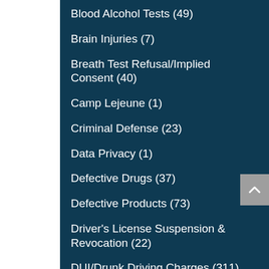Blood Alcohol Tests (49)
Brain Injuries (7)
Breath Test Refusal/Implied Consent (40)
Camp Lejeune (1)
Criminal Defense (23)
Data Privacy (1)
Defective Drugs (37)
Defective Products (73)
Driver's License Suspension & Revocation (22)
DUI/Drunk Driving Charges (311)
Expungement (6)
Fine Name (?)